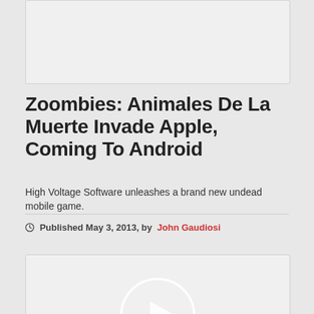[Figure (other): Top placeholder image box with light gray background]
Zoombies: Animales De La Muerte Invade Apple, Coming To Android
High Voltage Software unleashes a brand new undead mobile game.
Published May 3, 2013, by John Gaudiosi
[Figure (other): Video player placeholder with light gray background and white circular play button icon]